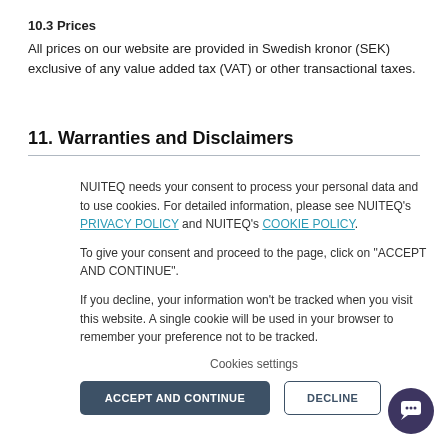10.3 Prices
All prices on our website are provided in Swedish kronor (SEK) exclusive of any value added tax (VAT) or other transactional taxes.
11. Warranties and Disclaimers
NUITEQ needs your consent to process your personal data and to use cookies. For detailed information, please see NUITEQ's PRIVACY POLICY and NUITEQ's COOKIE POLICY.
To give your consent and proceed to the page, click on "ACCEPT AND CONTINUE".
If you decline, your information won't be tracked when you visit this website. A single cookie will be used in your browser to remember your preference not to be tracked.
Cookies settings
ACCEPT AND CONTINUE | DECLINE